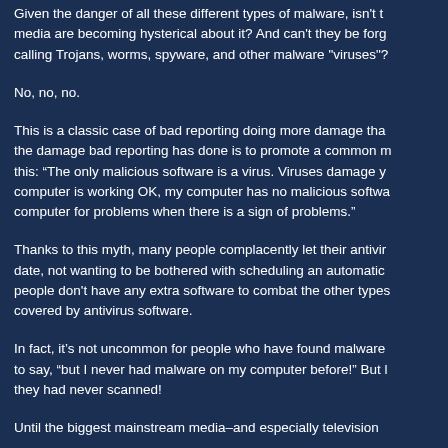Given the danger of all these different types of malware, isn't the media are becoming hysterical about it? And can't they be forgiven for calling Trojans, worms, spyware, and other malware "viruses"?
No, no, no.
This is a classic case of bad reporting doing more damage tha... the damage bad reporting has done is to promote a common m... this: “The only malicious software is a virus. Viruses damage y... computer is working OK, my computer has no malicious softwa... computer for problems when there is a sign of problems.”
Thanks to this myth, many people complacently let their antivir... date, not wanting to be bothered with scheduling an automatic... people don't have any extra software to combat the other types... covered by antivirus software.
In fact, it’s not uncommon for people who have found malware... to say, “but I never had malware on my computer before!” But l... they had never scanned!
Until the biggest mainstream media–and especially television...